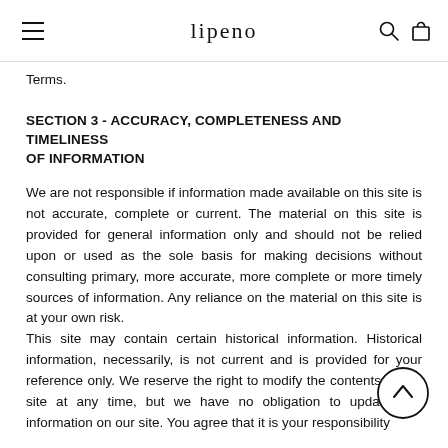lipeno
Terms.
SECTION 3 - ACCURACY, COMPLETENESS AND TIMELINESS OF INFORMATION
We are not responsible if information made available on this site is not accurate, complete or current. The material on this site is provided for general information only and should not be relied upon or used as the sole basis for making decisions without consulting primary, more accurate, more complete or more timely sources of information. Any reliance on the material on this site is at your own risk.
This site may contain certain historical information. Historical information, necessarily, is not current and is provided for your reference only. We reserve the right to modify the contents of this site at any time, but we have no obligation to update any information on our site. You agree that it is your responsibility